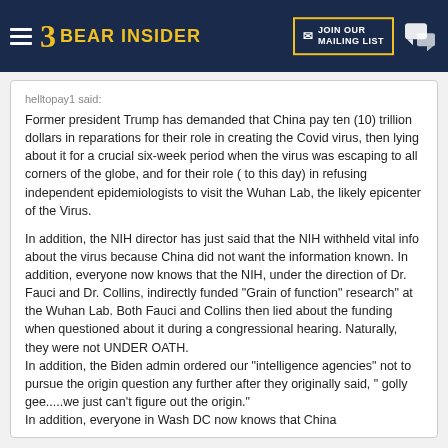Bear Insider — JOIN OUR MAILING LIST
helltopay1 said:
Former president Trump has demanded that China pay ten (10) trillion dollars in reparations for their role in creating the Covid virus, then lying about it for a crucial six-week period when the virus was escaping to all corners of the globe, and for their role ( to this day) in refusing independent epidemiologists to visit the Wuhan Lab, the likely epicenter of the Virus.

In addition, the NIH director has just said that the NIH withheld vital info about the virus because China did not want the information known. In addition, everyone now knows that the NIH, under the direction of Dr. Fauci and Dr. Collins, indirectly funded "Grain of function" research" at the Wuhan Lab. Both Fauci and Collins then lied about the funding when questioned about it during a congressional hearing. Naturally, they were not UNDER OATH.
In addition, the Biden admin ordered our "intelligence agencies" not to pursue the origin question any further after they originally said, " golly gee.....we just can't figure out the origin."
In addition, everyone in Wash DC now knows that China